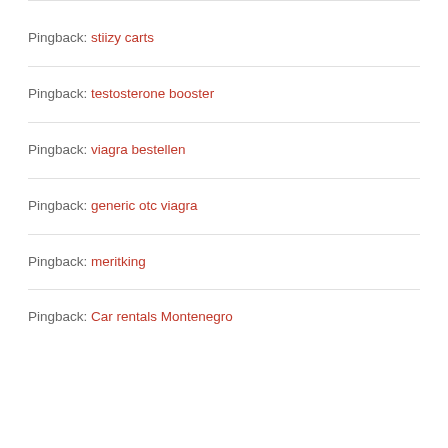Pingback: stiizy carts
Pingback: testosterone booster
Pingback: viagra bestellen
Pingback: generic otc viagra
Pingback: meritking
Pingback: Car rentals Montenegro